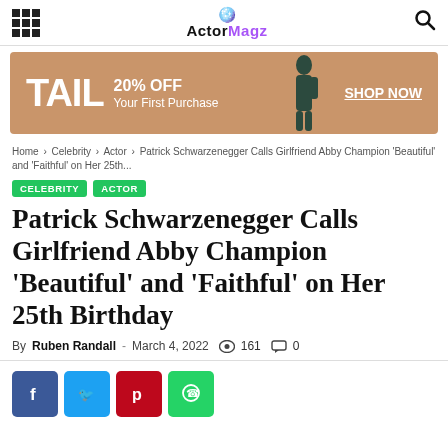ActorMagz
[Figure (infographic): TAIL 20% OFF Your First Purchase SHOP NOW advertisement banner]
Home > Celebrity > Actor > Patrick Schwarzenegger Calls Girlfriend Abby Champion 'Beautiful' and 'Faithful' on Her 25th...
CELEBRITY   ACTOR
Patrick Schwarzenegger Calls Girlfriend Abby Champion 'Beautiful' and 'Faithful' on Her 25th Birthday
By Ruben Randall - March 4, 2022  161  0
[Figure (infographic): Social share buttons: Facebook, Twitter, Pinterest, WhatsApp]